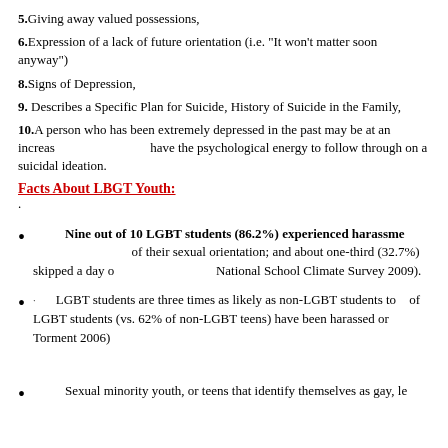5. Giving away valued possessions,
6. Expression of a lack of future orientation (i.e. "It won't matter soon anyway")
8. Signs of Depression,
9. Describes a Specific Plan for Suicide, History of Suicide in the Family,
10. A person who has been extremely depressed in the past may be at an increased risk when they have the psychological energy to follow through on a suicidal ideation.
Facts About LBGT Youth:
Nine out of 10 LGBT students (86.2%) experienced harassment at school because of their sexual orientation; and about one-third (32.7%) skipped a day of school (GLSEN's National School Climate Survey 2009).
LGBT students are three times as likely as non-LGBT students to... of LGBT students (vs. 62% of non-LGBT teens) have been harassed or ... Torment 2006)
Sexual minority youth, or teens that identify themselves as gay, le...